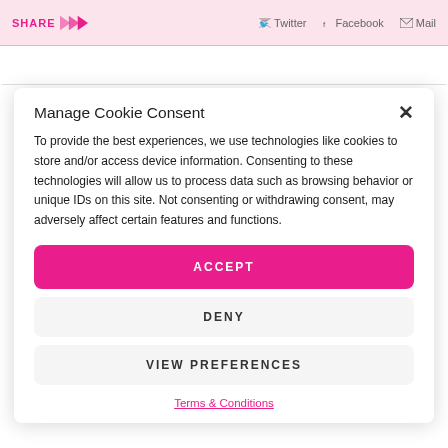SHARE  Twitter  Facebook  Mail
Manage Cookie Consent
To provide the best experiences, we use technologies like cookies to store and/or access device information. Consenting to these technologies will allow us to process data such as browsing behavior or unique IDs on this site. Not consenting or withdrawing consent, may adversely affect certain features and functions.
ACCEPT
DENY
VIEW PREFERENCES
Terms & Conditions